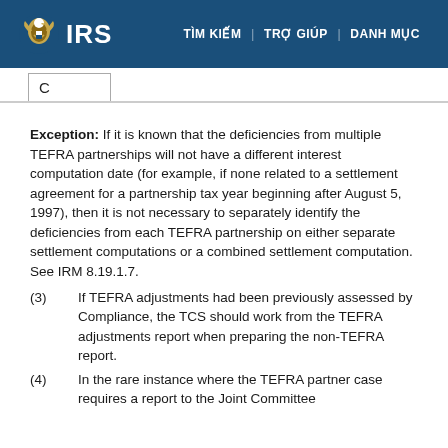IRS | TÌM KIẾM | TRỢ GIÚP | DANH MỤC
C
Exception: If it is known that the deficiencies from multiple TEFRA partnerships will not have a different interest computation date (for example, if none related to a settlement agreement for a partnership tax year beginning after August 5, 1997), then it is not necessary to separately identify the deficiencies from each TEFRA partnership on either separate settlement computations or a combined settlement computation. See IRM 8.19.1.7.
(3) If TEFRA adjustments had been previously assessed by Compliance, the TCS should work from the TEFRA adjustments report when preparing the non-TEFRA report.
(4) In the rare instance where the TEFRA partner case requires a report to the Joint Committee